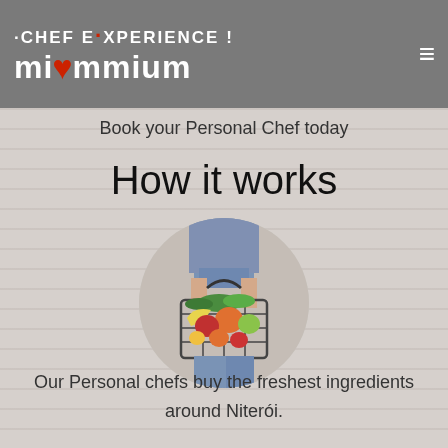CHEF EXPERIENCE ! miammium
Book your Personal Chef today
How it works
[Figure (photo): Person holding a wire basket full of fresh groceries including vegetables and fruits, shown in a circular cropped image on a brick wall background.]
Our Personal chefs buy the freshest ingredients around Niterói.